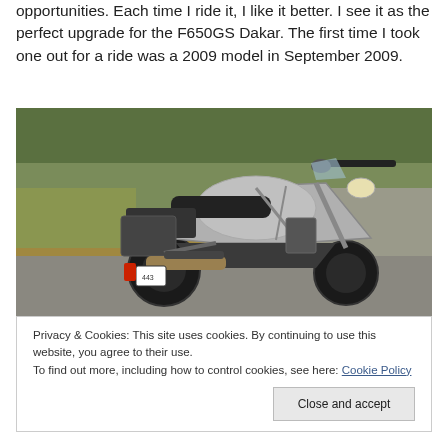opportunities.  Each time I ride it, I like it better.  I see it as the perfect upgrade for the F650GS Dakar.  The first time I took one out for a ride was a 2009 model in September 2009.
[Figure (photo): A BMW motorcycle (likely F800GS or similar) parked on a road with grassy and graveled surroundings. The bike is silver/grey with black components, panniers rack, and a license plate visible.]
Privacy & Cookies: This site uses cookies. By continuing to use this website, you agree to their use.
To find out more, including how to control cookies, see here: Cookie Policy

Close and accept